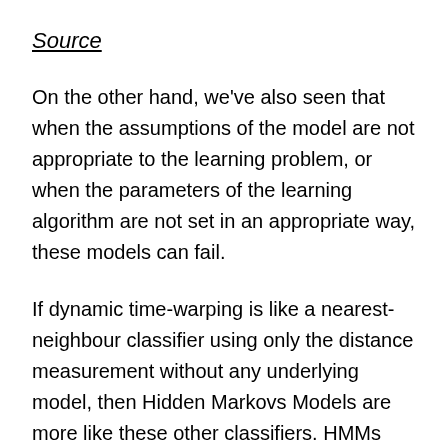Source
On the other hand, we've also seen that when the assumptions of the model are not appropriate to the learning problem, or when the parameters of the learning algorithm are not set in an appropriate way, these models can fail.
If dynamic time-warping is like a nearest-neighbour classifier using only the distance measurement without any underlying model, then Hidden Markovs Models are more like these other classifiers. HMMs can perform very well when the model of the data is appropriate and they can